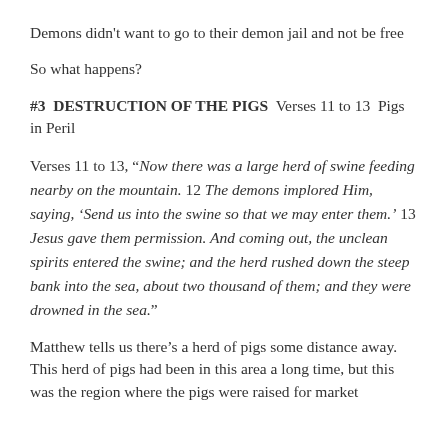Demons didn't want to go to their demon jail and not be free
So what happens?
#3  DESTRUCTION OF THE PIGS  Verses 11 to 13  Pigs in Peril
Verses 11 to 13, “Now there was a large herd of swine feeding nearby on the mountain. 12 The demons implored Him, saying, ‘Send us into the swine so that we may enter them.’ 13 Jesus gave them permission. And coming out, the unclean spirits entered the swine; and the herd rushed down the steep bank into the sea, about two thousand of them; and they were drowned in the sea.”
Matthew tells us there’s a herd of pigs some distance away.  This herd of pigs had been in this area a long time, but this was the region where the pigs were raised for market